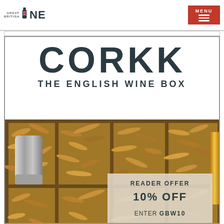GREAT BRITISH WINE — MENU
CORKK
THE ENGLISH WINE BOX
[Figure (photo): Photo of an English wine box (Corkk) with wine bottles nestled in brown shredded paper inside a wooden compartment box, with a promotional overlay reading: READER OFFER 10% OFF ENTER GBW10 AT CHECKOUT]